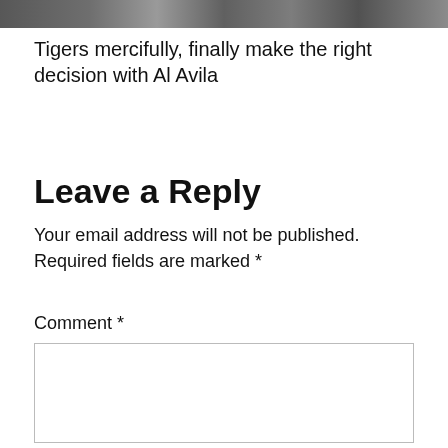[Figure (photo): Partial photo strip at top of page, dark tones, appears to be a sports-related image]
Tigers mercifully, finally make the right decision with Al Avila
Leave a Reply
Your email address will not be published. Required fields are marked *
Comment *
[Figure (screenshot): Empty comment text area input box]